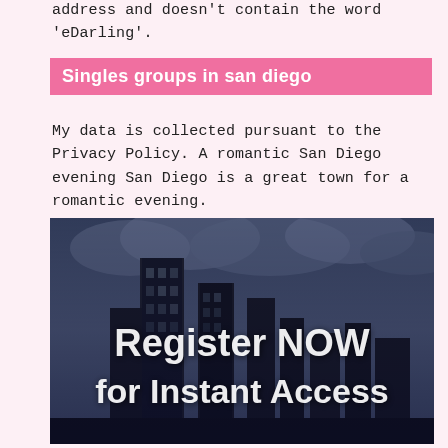address and doesn't contain the word 'eDarling'.
Singles groups in san diego
My data is collected pursuant to the Privacy Policy. A romantic San Diego evening San Diego is a great town for a romantic evening.
[Figure (photo): City skyline of San Diego with tall modern skyscrapers against a cloudy sky, overlaid with white text reading 'Register NOW for Instant Access']